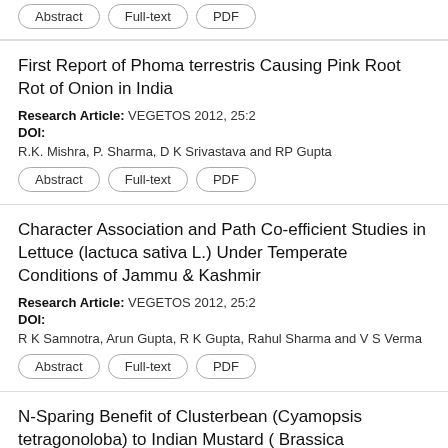[stub buttons at top]
First Report of Phoma terrestris Causing Pink Root Rot of Onion in India
Research Article: VEGETOS 2012, 25:2
DOI:
R.K. Mishra, P. Sharma, D K Srivastava and RP Gupta
Abstract
Full-text
PDF
Character Association and Path Co-efficient Studies in Lettuce (lactuca sativa L.) Under Temperate Conditions of Jammu & Kashmir
Research Article: VEGETOS 2012, 25:2
DOI:
R K Samnotra, Arun Gupta, R K Gupta, Rahul Sharma and V S Verma
Abstract
Full-text
PDF
N-Sparing Benefit of Clusterbean (Cyamopsis tetragonoloba) to Indian Mustard ( Brassica